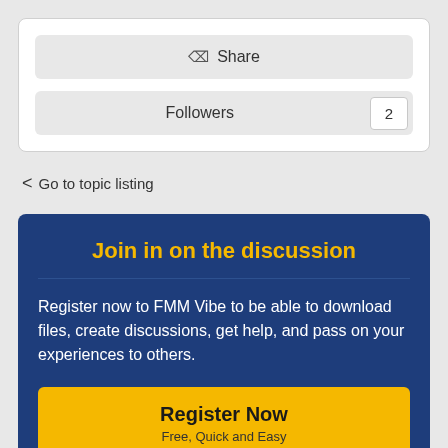Share
Followers 2
< Go to topic listing
Join in on the discussion
Register now to FMM Vibe to be able to download files, create discussions, get help, and pass on your experiences to others.
Register Now
Free, Quick and Easy